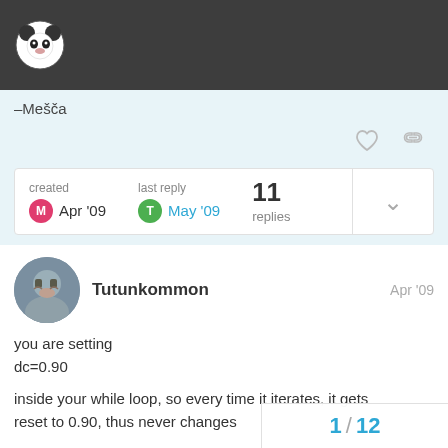–Mešča
created Apr '09   last reply May '09   11 replies
Tutunkommon   Apr '09
you are setting
dc=0.90

inside your while loop, so every time it iterates, it gets reset to 0.90, thus never changes

In the first program, I don't see where originally, but you are also using :
1 / 12